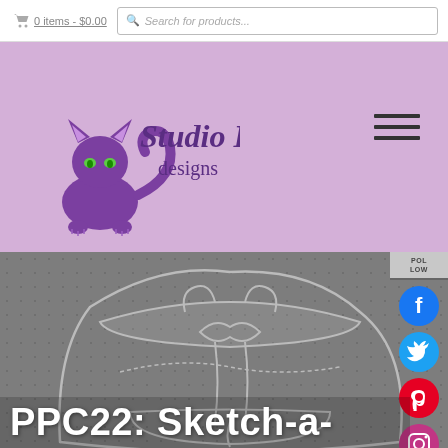0 items - $0.00  |  Search for products...
[Figure (logo): Studio Kat Designs logo — purple stylized cat with text 'Studio Kat designs' on lavender background]
[Figure (illustration): Pencil sketch of a bag/backpack design on grey dotted background with social media icons sidebar (Facebook, Twitter, Pinterest, Instagram, RSS) and FOLLOW label]
PPC22: Sketch-a-